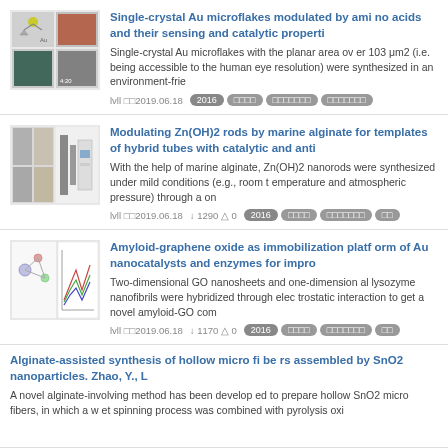Single-crystal Au microflakes modulated by amino acids and their sensing and catalytic properti
Single-crystal Au microflakes with the planar area over 103 μm2 (i.e. being accessible to the human eye resolution) were synthesized in an environment-frie
lvll 2019.06.18  2016 ████ ███████ ███████
Modulating Zn(OH)2 rods by marine alginate for templates of hybrid tubes with catalytic and anti
With the help of marine alginate, Zn(OH)2 nanorods were synthesized under mild conditions (e.g., room temperature and atmospheric pressure) through a on
lvll 2019.06.18  ↓1290 △0  2016 ████ ███████ ██
Amyloid-graphene oxide as immobilization platform of Au nanocatalysts and enzymes for impro
Two-dimensional GO nanosheets and one-dimensional lysozyme nanofibrils were hybridized through electrostatic interaction to get a novel amyloid-GO com
lvll 2019.06.18  ↓1170 △0  2016 ████ ███████ ██
Alginate-assisted synthesis of hollow micro fibers assembled by SnO2 nanoparticles. Zhao, Y., L
A novel alginate-involving method has been developed to prepare hollow SnO2 micro fibers, in which a wet spinning process was combined with pyrolysis oxi